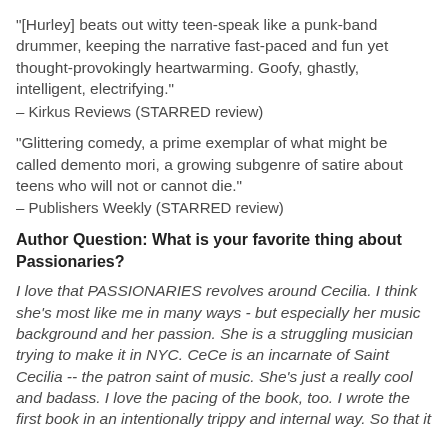"[Hurley] beats out witty teen-speak like a punk-band drummer, keeping the narrative fast-paced and fun yet thought-provokingly heartwarming. Goofy, ghastly, intelligent, electrifying."
– Kirkus Reviews (STARRED review)
"Glittering comedy, a prime exemplar of what might be called demento mori, a growing subgenre of satire about teens who will not or cannot die."
– Publishers Weekly (STARRED review)
Author Question: What is your favorite thing about Passionaries?
I love that PASSIONARIES revolves around Cecilia. I think she's most like me in many ways - but especially her music background and her passion. She is a struggling musician trying to make it in NYC. CeCe is an incarnate of Saint Cecilia -- the patron saint of music. She's just a really cool and badass. I love the pacing of the book, too. I wrote the first book in an intentionally trippy and internal way. So that it